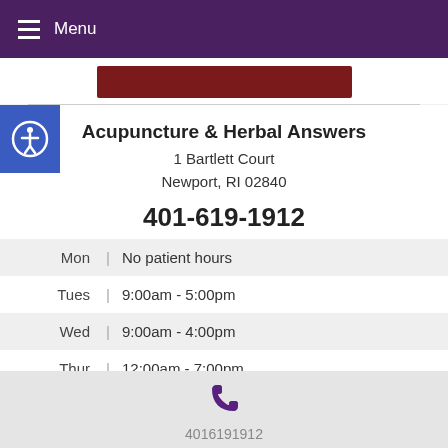Menu
Acupuncture & Herbal Answers
1 Bartlett Court
Newport, RI 02840
401-619-1912
| Day |  | Hours |
| --- | --- | --- |
| Mon | | | No patient hours |
| Tues | | | 9:00am - 5:00pm |
| Wed | | | 9:00am - 4:00pm |
| Thur | | | 12:00am - 7:00pm |
| Fri | | | 9:00am - 5:00pm |
4016191912